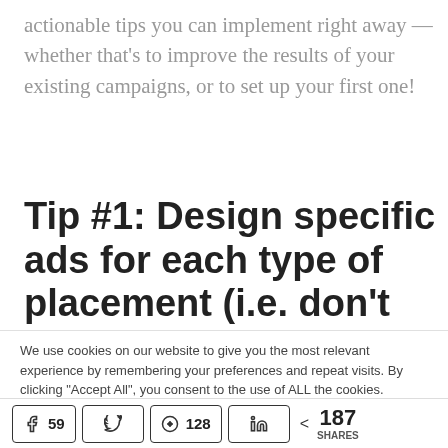actionable tips you can implement right away — whether that's to improve the results of your existing campaigns, or to set up your first one!
Tip #1: Design specific ads for each type of placement (i.e. don't use Facebook's
We use cookies on our website to give you the most relevant experience by remembering your preferences and repeat visits. By clicking "Accept All", you consent to the use of ALL the cookies. However, you may visit "Cookie Settings" to provide a controlled consent.
59 shares on Facebook | Twitter | 128 shares on Pinterest | LinkedIn | < 187 SHARES